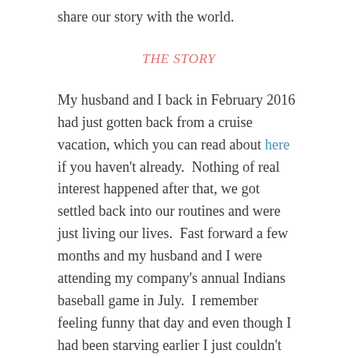share our story with the world.
THE STORY
My husband and I back in February 2016 had just gotten back from a cruise vacation, which you can read about here if you haven't already.  Nothing of real interest happened after that, we got settled back into our routines and were just living our lives.  Fast forward a few months and my husband and I were attending my company's annual Indians baseball game in July.  I remember feeling funny that day and even though I had been starving earlier I just couldn't bring myself to eat my hamburger.  It looked yummy, but gosh, I just couldn't eat.
Oddly enough, someone from work asked me a couple